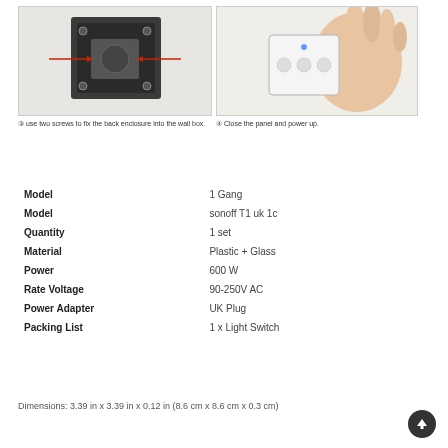[Figure (photo): Photo of back enclosure being fixed into wall box with screws, with a red arrow indicating the screw position]
③ use two screws to fix the back enclosure into the wall box.
[Figure (photo): Photo of a hand holding a white touch panel/glass front of the switch]
④ Close the panel and power up.
| Model | 1 Gang |
| Model | sonoff T1 uk 1c |
| Quantity | 1 set |
| Material | Plastic + Glass |
| Power | 600 W |
| Rate Voltage | 90-250V AC |
| Power Adapter | UK Plug |
| Packing List | 1 x Light Switch |
Dimensions: 3.39 in x 3.39 in x 0.12 in (8.6 cm x 8.6 cm x 0.3 cm)